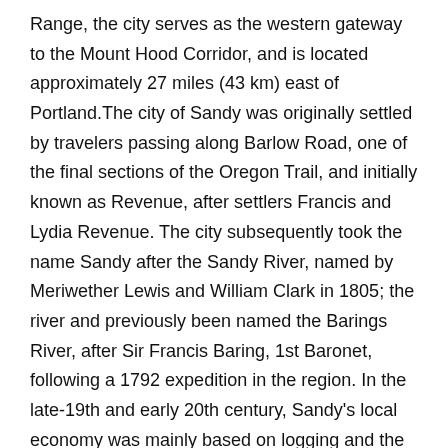Range, the city serves as the western gateway to the Mount Hood Corridor, and is located approximately 27 miles (43 km) east of Portland.The city of Sandy was originally settled by travelers passing along Barlow Road, one of the final sections of the Oregon Trail, and initially known as Revenue, after settlers Francis and Lydia Revenue. The city subsequently took the name Sandy after the Sandy River, named by Meriwether Lewis and William Clark in 1805; the river and previously been named the Barings River, after Sir Francis Baring, 1st Baronet, following a 1792 expedition in the region. In the late-19th and early 20th century, Sandy's local economy was mainly based on logging and the sawmill industry due to the abundance of timber in the